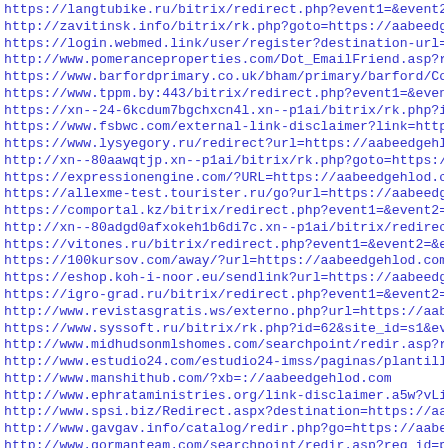https://langtubike.ru/bitrix/redirect.php?event1=&event2=&
http://zavitinsk.info/bitrix/rk.php?goto=https://aabeedgehl
https://login.webmed.link/user/register?destination-url=htt
http://www.pomeranceproperties.com/Dot_EmailFriend.asp?refe
https://www.barfordprimary.co.uk/bham/primary/barford/Cooki
https://www.tppm.by:443/bitrix/redirect.php?event1=&event2=
https://xn--24-6kcdum7bgchxcn4l.xn--p1ai/bitrix/rk.php?id=4
https://www.fsbwc.com/external-link-disclaimer?link=https:/
https://www.lysyegory.ru/redirect?url=https://aabeedgehlod.
http://xn--80aawqtjp.xn--p1ai/bitrix/rk.php?goto=https://aa
https://expressionengine.com/?URL=https://aabeedgehlod.com/
https://allexme-test.tourister.ru/go?url=https://aabeedgehl
https://comportal.kz/bitrix/redirect.php?event1=&event2=&ev
http://xn--80adgd0afxokeh1b6di7c.xn--p1ai/bitrix/redirect.p
https://vitones.ru/bitrix/redirect.php?event1=&event2=&even
https://100kursov.com/away/?url=https://aabeedgehlod.com/
https://eshop.koh-i-noor.eu/sendlink?url=https://aabeedgehl
https://igro-grad.ru/bitrix/redirect.php?event1=&event2=&ev
http://www.revistasgratis.ws/externo.php?url=https://aabeed
https://www.syssoft.ru/bitrix/rk.php?id=62&site_id=s1&event
http://www.midhudsonmlshomes.com/searchpoint/redir.asp?reg_
http://www.estudio24.com/estudio24-imss/paginas/plantillas_
http://www.manshithub.com/?xb=://aabeedgehlod.com
http://www.ephrataministries.org/link-disclaimer.a5w?vLink=
http://www.spsi.biz/Redirect.aspx?destination=https://aabee
http://www.gavgav.info/catalog/redir.php?go=https://aabeedg
http://www.gormanteam.com/searchpoint/redir.asp?reg_id=ptyp
http://www.gifamilyradio.com/Redirect.aspx?destination=http
http://vport.biz/redirect?url=https://aabeedgehlod.com/
http://www.john.rossrealty.org/SearchPoint/redir.asp?rec